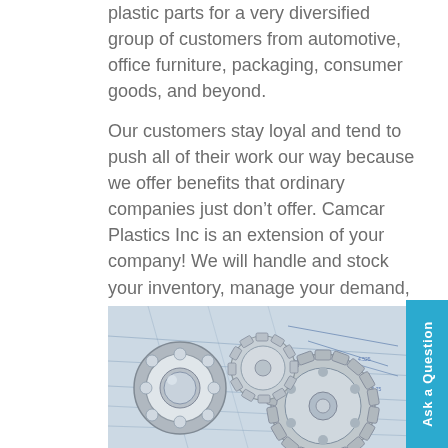plastic parts for a very diversified group of customers from automotive, office furniture, packaging, consumer goods, and beyond.
Our customers stay loyal and tend to push all of their work our way because we offer benefits that ordinary companies just don't offer. Camcar Plastics Inc is an extension of your company! We will handle and stock your inventory, manage your demand, consult with your purchasing, and plan with you. Our customer service is why our customers are loyal.
[Figure (photo): Photo of mechanical gears and ball bearing on top of engineering blueprint drawings]
Ask a Question